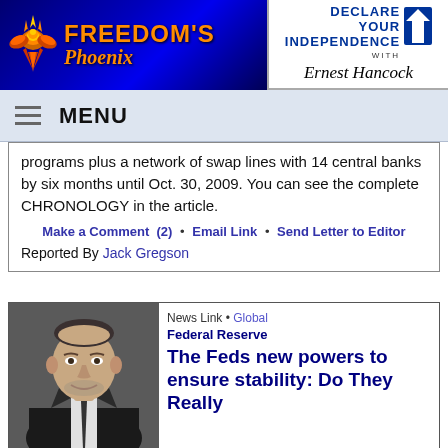[Figure (logo): Freedom's Phoenix logo with orange phoenix bird on blue background]
[Figure (logo): Declare Your Independence with Ernest Hancock logo]
MENU
programs plus a network of swap lines with 14 central banks by six months until Oct. 30, 2009. You can see the complete CHRONOLOGY in the article.
Make a Comment (2) • Email Link • Send Letter to Editor
Reported By Jack Gregson
[Figure (photo): Photo of a man in a suit, appears to be Ben Bernanke]
News Link • Global Federal Reserve
The Feds new powers to ensure stability: Do They Really